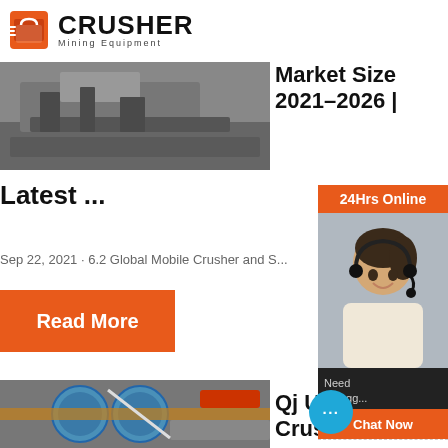[Figure (logo): Crusher Mining Equipment logo with red shopping bag icon and bold CRUSHER text]
[Figure (photo): Mining crusher machinery equipment on a worksite, grayscale tones]
Market Size 2021–2026 | Latest ...
Sep 22, 2021 · 6.2 Global Mobile Crusher and S...
[Figure (other): Read More orange button]
[Figure (photo): 24Hrs Online sidebar with female customer service agent wearing headset]
Need [help]
& sugg[estions]
Chat Now
Enquiry
limingjlmofen@sina.com
[Figure (photo): Industrial mining ball mill machinery photo]
Qj Use Stone Crush